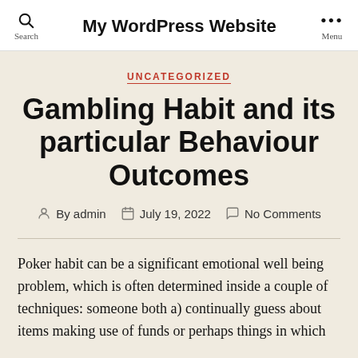My WordPress Website
UNCATEGORIZED
Gambling Habit and its particular Behaviour Outcomes
By admin  July 19, 2022  No Comments
Poker habit can be a significant emotional well being problem, which is often determined inside a couple of techniques: someone both a) continually guess about items making use of funds or perhaps things in which